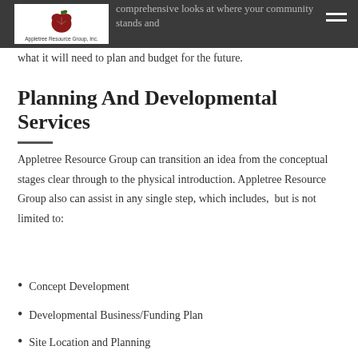Appletree Resource Group, Inc. — navigation header with logo
and/or replacement of it. Our reserve studies are comprehensive looks at where your community stands and what it will need to plan and budget for the future.
Planning And Developmental Services
Appletree Resource Group can transition an idea from the conceptual stages clear through to the physical introduction. Appletree Resource Group also can assist in any single step, which includes, but is not limited to:
Concept Development
Developmental Business/Funding Plan
Site Location and Planning